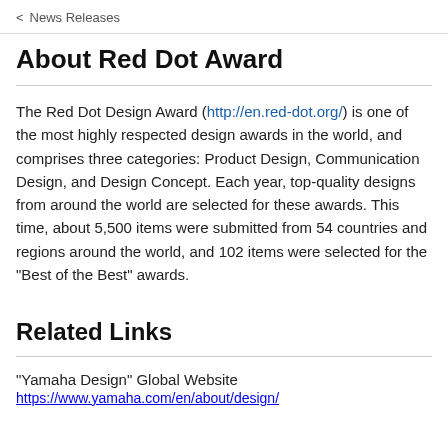< News Releases
About Red Dot Award
The Red Dot Design Award (http://en.red-dot.org/) is one of the most highly respected design awards in the world, and comprises three categories: Product Design, Communication Design, and Design Concept. Each year, top-quality designs from around the world are selected for these awards. This time, about 5,500 items were submitted from 54 countries and regions around the world, and 102 items were selected for the "Best of the Best" awards.
Related Links
"Yamaha Design" Global Website
https://www.yamaha.com/en/about/design/